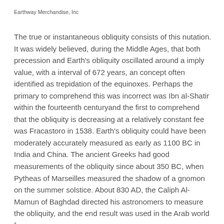Earthway Merchandise, Inc
The true or instantaneous obliquity consists of this nutation. It was widely believed, during the Middle Ages, that both precession and Earth's obliquity oscillated around a imply value, with a interval of 672 years, an concept often identified as trepidation of the equinoxes. Perhaps the primary to comprehend this was incorrect was Ibn al-Shatir within the fourteenth centuryand the first to comprehend that the obliquity is decreasing at a relatively constant fee was Fracastoro in 1538. Earth's obliquity could have been moderately accurately measured as early as 1100 BC in India and China. The ancient Greeks had good measurements of the obliquity since about 350 BC, when Pytheas of Marseilles measured the shadow of a gnomon on the summer solstice. About 830 AD, the Caliph Al-Mamun of Baghdad directed his astronomers to measure the obliquity, and the end result was used in the Arab world for many years.